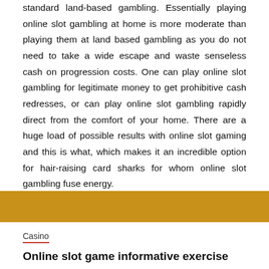standard land-based gambling. Essentially playing online slot gambling at home is more moderate than playing them at land based gambling as you do not need to take a wide escape and waste senseless cash on progression costs. One can play online slot gambling for legitimate money to get prohibitive cash redresses, or can play online slot gambling rapidly direct from the comfort of your home. There are a huge load of possible results with online slot gaming and this is what, which makes it an incredible option for hair-raising card sharks for whom online slot gambling fuse energy.
Casino
Online slot game informative exercise